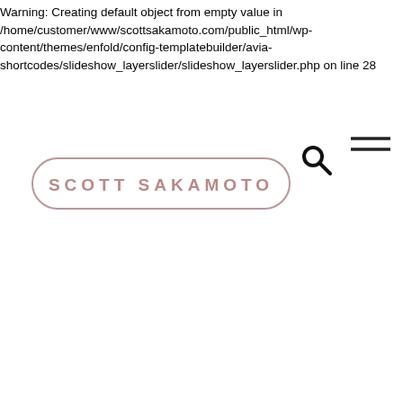Warning: Creating default object from empty value in /home/customer/www/scottsakamoto.com/public_html/wp-content/themes/enfold/config-templatebuilder/avia-shortcodes/slideshow_layerslider/slideshow_layerslider.php on line 28
[Figure (other): Hamburger menu icon (two horizontal lines) in the top right area]
[Figure (other): Search magnifying glass icon]
[Figure (logo): Scott Sakamoto logo — text in pink/mauve letters inside a rounded rectangle border]